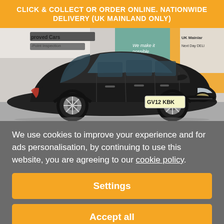CLICK & COLLECT OR ORDER ONLINE. NATIONWIDE DELIVERY (UK MAINLAND ONLY)
[Figure (photo): Black Toyota Prius+ (Prius Plus) hybrid car with registration plate GV12 KBK, photographed at a dealership with signage reading 'proved Cars', '-Point Inspection', 'We make it possible', 'UK Mainland Next Day DELI']
We use cookies to improve your experience and for ads personalisation, by continuing to use this website, you are agreeing to our cookie policy.
Settings
Accept all